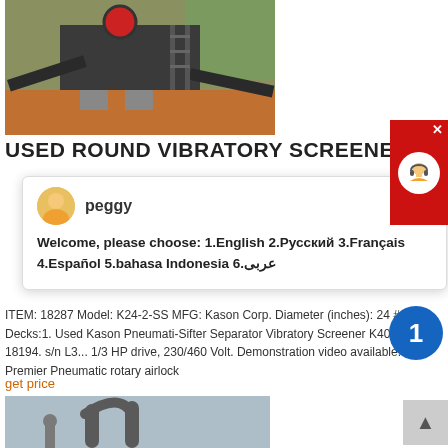[Figure (photo): Industrial vibratory screening equipment / crusher machinery at a quarry site with conveyor belts and concrete support pillars on red earth ground]
USED ROUND VIBRATORY SCREENER
[Figure (screenshot): Chat popup overlay with avatar of 'peggy' and welcome message in multiple languages]
ITEM: 18287 Model: K24-2-SS MFG: Kason Corp. Diameter (inches): 24 # Of Decks:1. Used Kason Pneumati-Sifter Separator Vibratory Screener K40-1BT-CS 18194. s/n L3... 1/3 HP drive, 230/460 Volt. Demonstration video available. With Premier Pneumatic rotary airlock
get price
[Figure (photo): Industrial equipment photo showing pipe/tube components against grey sky background]